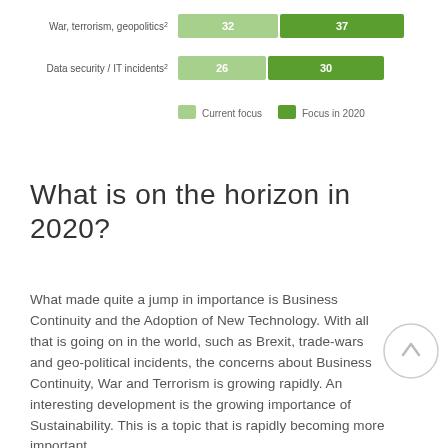[Figure (stacked-bar-chart): Risk focus chart (partial)]
What is on the horizon in 2020?
What made quite a jump in importance is Business Continuity and the Adoption of New Technology. With all that is going on in the world, such as Brexit, trade-wars and geo-political incidents, the concerns about Business Continuity, War and Terrorism is growing rapidly. An interesting development is the growing importance of Sustainability. This is a topic that is rapidly becoming more important.